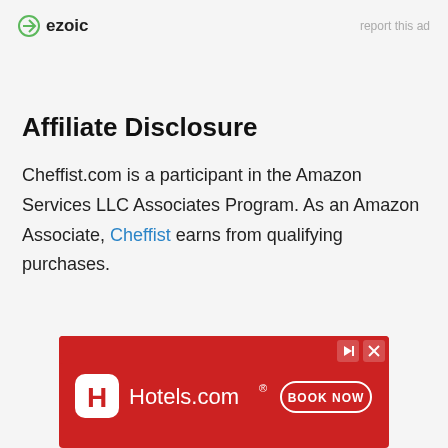ezoic — report this ad
Affiliate Disclosure
Cheffist.com is a participant in the Amazon Services LLC Associates Program. As an Amazon Associate, Cheffist earns from qualifying purchases.
[Figure (other): Hotels.com advertisement banner with red background, Hotels.com logo on left, and BOOK NOW button on right]